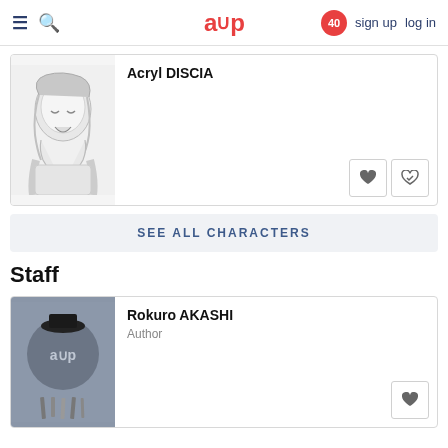aup  40  sign up  log in
[Figure (illustration): Manga-style anime girl character illustration in black and white]
Acryl DISCIA
SEE ALL CHARACTERS
Staff
[Figure (logo): AUP logo on grey background with art supplies]
Rokuro AKASHI
Author